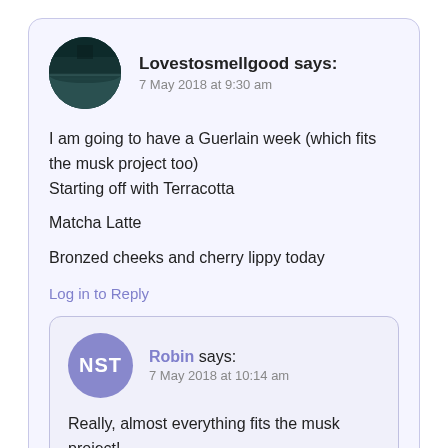[Figure (photo): Circular avatar photo showing a landscape with dark water and sky, greenish-teal tones]
Lovestosmellgood says:
7 May 2018 at 9:30 am
I am going to have a Guerlain week (which fits the musk project too)
Starting off with Terracotta

Matcha Latte

Bronzed cheeks and cherry lippy today
Log in to Reply
[Figure (logo): Circular purple avatar with white text NST]
Robin says:
7 May 2018 at 10:14 am
Really, almost everything fits the musk project!